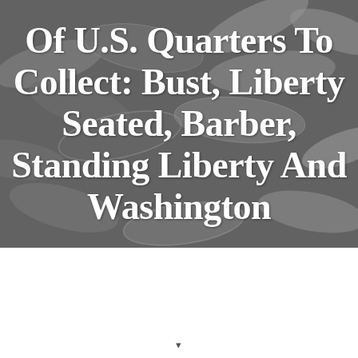[Figure (photo): Background photo of a pile of U.S. quarters (coins), shown in grayscale/muted tones, with large white serif title text overlaid on top reading: 'Of U.S. Quarters To Collect: Bust, Liberty Seated, Barber, Standing Liberty And Washington']
Of U.S. Quarters To Collect: Bust, Liberty Seated, Barber, Standing Liberty And Washington